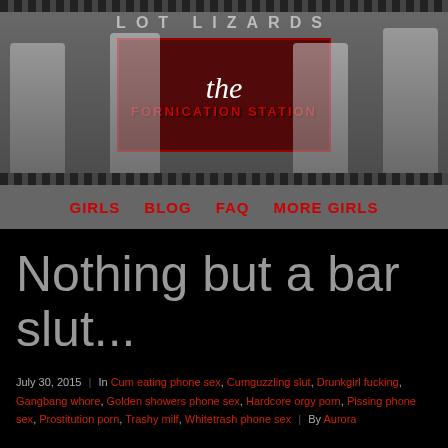[Figure (illustration): Website banner header for 'Lot Lizards - The Fornication Station' showing women in provocative poses against a stylized background with text overlay]
GIRLS   BLOG   FAQ   MORE GIRLS
Nothing but a bar slut...
July 30, 2015 | In Cum eating phone sex, Cumguzzling slut, Drunkgirl fucking, Gangbang whore, Golden showers phone sex, Hardcore orgy porn, Pissing phone sex, Prostitution porn, Trashy milf, Whitetrash phone sex | By Aurora